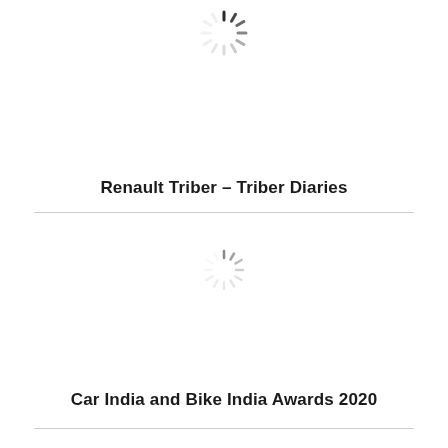[Figure (other): Loading spinner icon (dark spokes on white background) positioned near top of page]
Renault Triber – Triber Diaries
[Figure (other): Loading spinner icon (light grey spokes on white background) positioned in middle of page]
Car India and Bike India Awards 2020